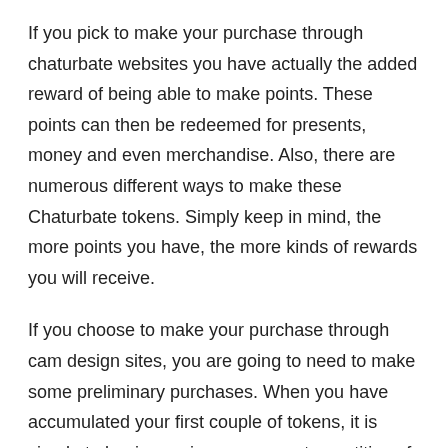If you pick to make your purchase through chaturbate websites you have actually the added reward of being able to make points. These points can then be redeemed for presents, money and even merchandise. Also, there are numerous different ways to make these Chaturbate tokens. Simply keep in mind, the more points you have, the more kinds of rewards you will receive.
If you choose to make your purchase through cam design sites, you are going to need to make some preliminary purchases. When you have accumulated your first couple of tokens, it is simple to begin earning some great quantities of cash with them. The secret to being successful at generating income through chaturbate, is merely being imaginative. Believe up as various methods as possible to keep viewers returning to your website.
Another suggestion you want to keep in mind, is to sign up to more than one chaturbate site. This idea is the foundation of making